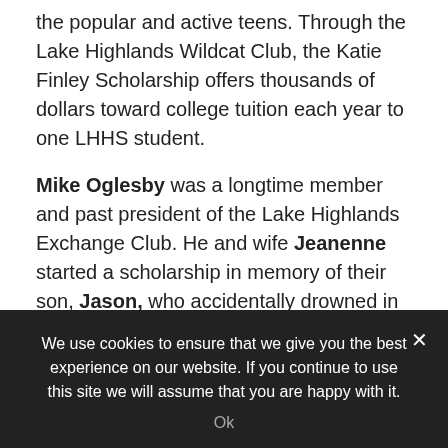the popular and active teens. Through the Lake Highlands Wildcat Club, the Katie Finley Scholarship offers thousands of dollars toward college tuition each year to one LHHS student.
Mike Oglesby was a longtime member and past president of the Lake Highlands Exchange Club. He and wife Jeanenne started a scholarship in memory of their son, Jason, who accidentally drowned in a swimming pool. After Mike died in 2013 from Lou Gehrig's Disease, Jeanenne added a scholarship to commemorate her husband.
We use cookies to ensure that we give you the best experience on our website. If you continue to use this site we will assume that you are happy with it.